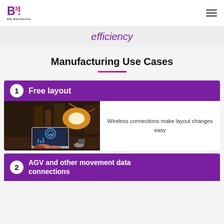[Figure (logo): B3! BB Backbone company logo in purple and pink]
efficiency
Manufacturing Use Cases
1 Free layout
[Figure (photo): Person using laptop in industrial/factory setting with machinery and bright lights]
Wireless connections make layout changes easy
2 AGV and other movement data connections